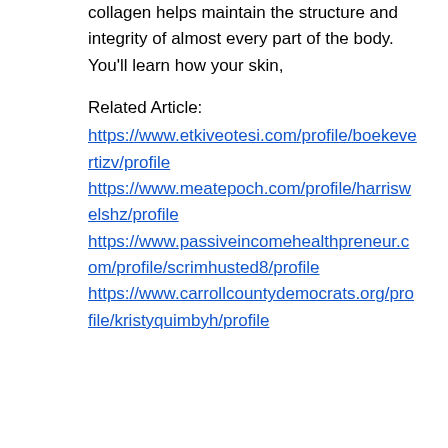collagen helps maintain the structure and integrity of almost every part of the body. You'll learn how your skin,
Related Article:
https://www.etkiveotesi.com/profile/boekevertizv/profile
https://www.meatepoch.com/profile/harriswelshz/profile
https://www.passiveincomehealthpreneur.com/profile/scrimhusted8/profile
https://www.carrollcountydemocrats.org/profile/kristyquimbyh/profile